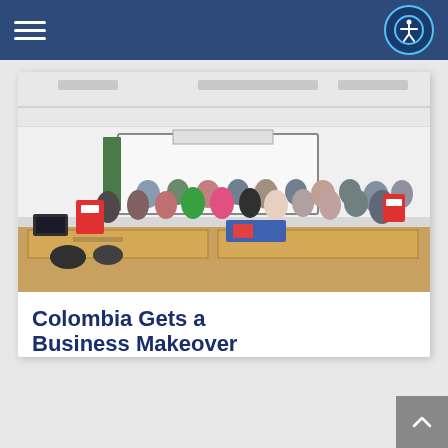technology requirements.
Navigation bar with hamburger menu and accessibility button
[Figure (photo): Group photo of approximately 20 young people standing in a classroom with wooden desks and a whiteboard. Some hold red posters/signs. A sign is placed on a desk in the foreground.]
Colombia Gets a Business Makeover